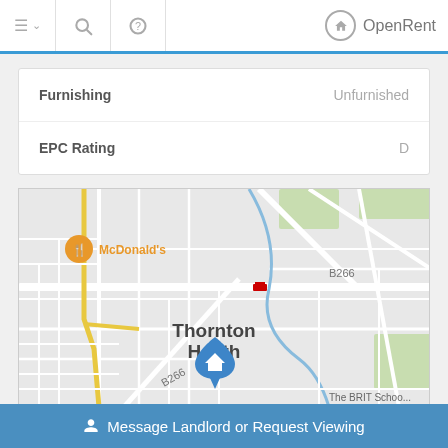OpenRent
| Property | Value |
| --- | --- |
| Furnishing | Unfurnished |
| EPC Rating | D |
[Figure (map): Street map showing Thornton Heath area with McDonald's marker, B266 road labels, a railway station marker, and a blue home/property pin in the center of Thornton Heath. The BRIT School is partially visible at the bottom right.]
Message Landlord or Request Viewing